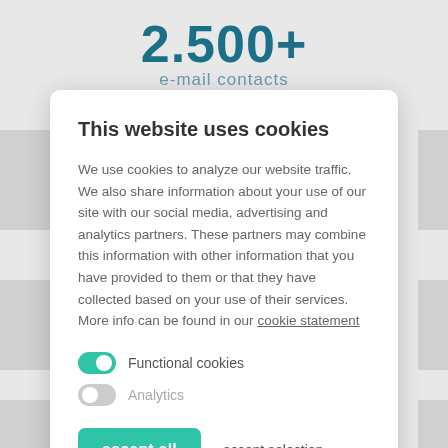2.500+
e-mail contacts
This website uses cookies
We use cookies to analyze our website traffic. We also share information about your use of our site with our social media, advertising and analytics partners. These partners may combine this information with other information that you have provided to them or that they have collected based on your use of their services. More info can be found in our cookie statement
Functional cookies (toggle on)
Analytics (toggle off)
accept all
accept selection